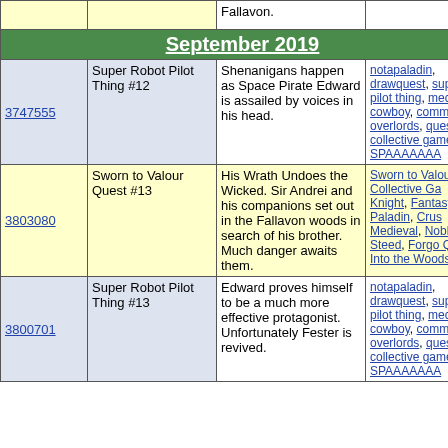|  | Fallavon. |  |  |
| September 2019 (merged header) |  |  |  |
| 3747555 | Super Robot Pilot Thing #12 | Shenanigans happen as Space Pirate Edward is assailed by voices in his head. | notapaladin, drawquest, super pilot thing, mecha, cowboy, communist overlords, quest, collective game, SPAAAAAAA |
| 3803080 | Sworn to Valour Quest #13 | His Wrath Undoes the Wicked. Sir Andrei and his companions set out in the Fallavon woods in search of his brother. Much danger awaits them. | Sworn to Valour, Collective Ga Knight, Fantasy, Paladin, Crus Medieval, Noble Steed, Forgo QM, Into the Woods |
| 3800701 | Super Robot Pilot Thing #13 | Edward proves himself to be a much more effective protagonist. Unfortunately Fester is revived. | notapaladin, drawquest, super pilot thing, mecha, cowboy, communist overlords, quest, collective game, SPAAAAAAA |